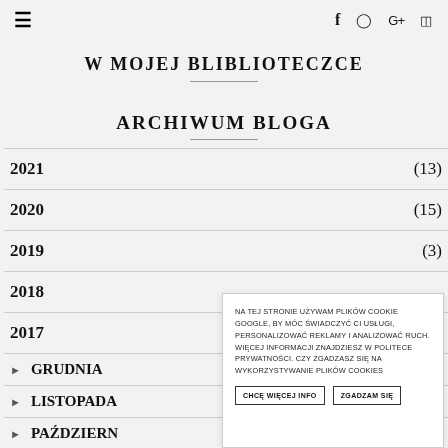≡   f  ⊕  G+  ⊡
W MOJEJ BLIBLIOTECZCE
ARCHIWUM BLOGA
2021 (13)
2020 (15)
2019 (3)
2018
2017
> GRUDNIA
> LISTOPADA
> PAŹDZIERN
NA TEJ STRONIE UŻYWAM PLIKÓW COOKIE GOOGLE, BY MÓC ŚWIADCZYĆ CI USŁUGI, PERSONALIZOWAĆ REKLAMY I ANALIZOWAĆ RUCH. WIĘCEJ INFORMACJI ZNAJDZIESZ W POLITECE PRYWATNOŚCI. CZY ZGADZASZ SIĘ NA WYKORZYSTYWANIE PLIKÓW COOKIES
CHCĘ WIĘCEJ INFO  ZGADZAM SIĘ